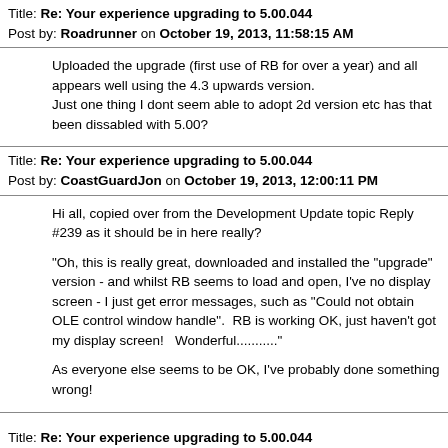Title: Re: Your experience upgrading to 5.00.044
Post by: Roadrunner on October 19, 2013, 11:58:15 AM
Uploaded the upgrade (first use of RB for over a year) and all appears well using the 4.3 upwards version.
Just one thing I dont seem able to adopt 2d version etc has that been dissabled with 5.00?
Title: Re: Your experience upgrading to 5.00.044
Post by: CoastGuardJon on October 19, 2013, 12:00:11 PM
Hi all, copied over from the Development Update topic Reply #239 as it should be in here really?

"Oh, this is really great, downloaded and installed the "upgrade" version - and whilst RB seems to load and open, I've no display screen - I just get error messages, such as "Could not obtain OLE control window handle".  RB is working OK, just haven't got my display screen!   Wonderful..........."  

As everyone else seems to be OK, I've probably done something wrong!
Title: Re: Your experience upgrading to 5.00.044
Post by: Runway 31 on October 19, 2013, 12:01:46 PM
Hi Roadrunner,